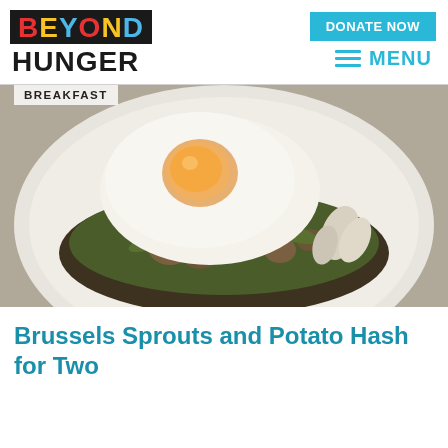[Figure (logo): Beyond Hunger logo with colorful letters on black background for BEYOND and bold black text for HUNGER]
[Figure (other): DONATE NOW button in cyan/teal]
[Figure (other): Hamburger menu icon with MENU text in cyan]
[Figure (photo): Close-up food photo of Brussels sprouts and potato hash on a white plate topped with a fried egg, with sauteed mushrooms and vegetables visible underneath]
BREAKFAST
Brussels Sprouts and Potato Hash for Two